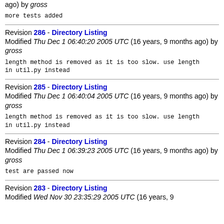ago) by gross
more tests added
Revision 286 - Directory Listing
Modified Thu Dec 1 06:40:20 2005 UTC (16 years, 9 months ago) by gross
length method is removed as it is too slow. use length in util.py instead
Revision 285 - Directory Listing
Modified Thu Dec 1 06:40:04 2005 UTC (16 years, 9 months ago) by gross
length method is removed as it is too slow. use length in util.py instead
Revision 284 - Directory Listing
Modified Thu Dec 1 06:39:23 2005 UTC (16 years, 9 months ago) by gross
test are passed now
Revision 283 - Directory Listing
Modified Wed Nov 30 23:35:29 2005 UTC (16 years, 9